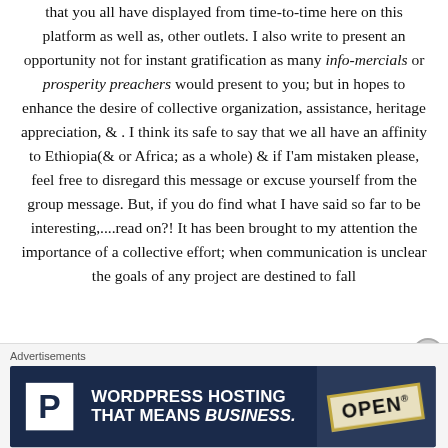that you all have displayed from time-to-time here on this platform as well as, other outlets. I also write to present an opportunity not for instant gratification as many info-mercials or prosperity preachers would present to you; but in hopes to enhance the desire of collective organization, assistance, heritage appreciation, & . I think its safe to say that we all have an affinity to Ethiopia(& or Africa; as a whole) & if I'am mistaken please, feel free to disregard this message or excuse yourself from the group message. But, if you do find what I have said so far to be interesting,....read on?! It has been brought to my attention the importance of a collective effort; when communication is unclear the goals of any project are destined to fall
[Figure (other): Advertisement banner for WordPress Hosting that means business, with P logo and OPEN sign image]